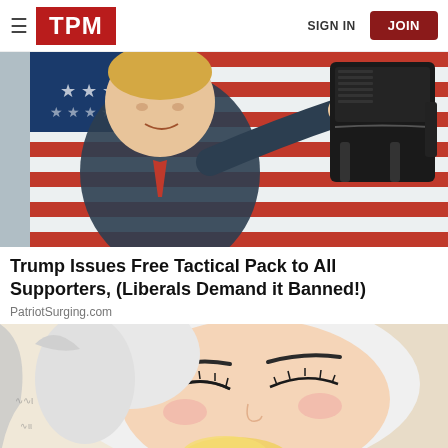TPM | SIGN IN | JOIN
[Figure (photo): Man in dark suit pointing finger at black tactical backpack, American flag in background]
Trump Issues Free Tactical Pack to All Supporters, (Liberals Demand it Banned!)
PatriotSurging.com
[Figure (illustration): Manga/anime style illustration of a woman's face with closed eyes in a close-up, pink cheeks, white hair or head covering, holding something yellow near her mouth]